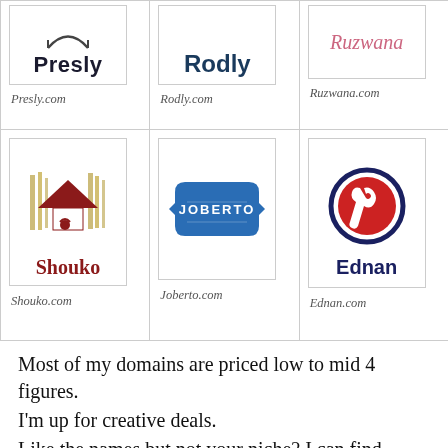| Presly.com | Rodly.com | Ruzwana.com |
| Shouko.com | Joberto.com | Ednan.com |
Most of my domains are priced low to mid 4 figures.
I'm up for creative deals.
Like the names but not your niche? I can find